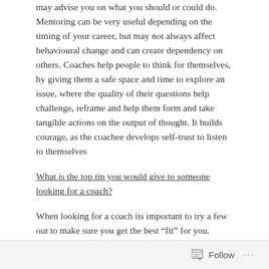may advise you on what you should or could do. Mentoring can be very useful depending on the timing of your career, but may not always affect behavioural change and can create dependency on others. Coaches help people to think for themselves, by giving them a safe space and time to explore an issue, where the quality of their questions help challenge, reframe and help them form and take tangible actions on the output of thought. It builds courage, as the coachee develops self-trust to listen to themselves
What is the top tip you would give to someone looking for a coach?
When looking for a coach its important to try a few out to make sure you get the best “fit” for you. Coaching is like dating – you need to make sure the
Follow ···